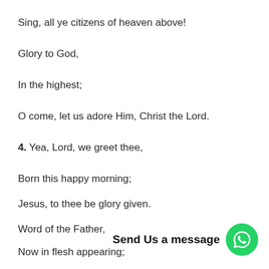Sing, all ye citizens of heaven above!
Glory to God,
In the highest;
O come, let us adore Him, Christ the Lord.
4. Yea, Lord, we greet thee,
Born this happy morning;
Jesus, to thee be glory given.
Word of the Father,
Send Us a message
Now in flesh appearing;